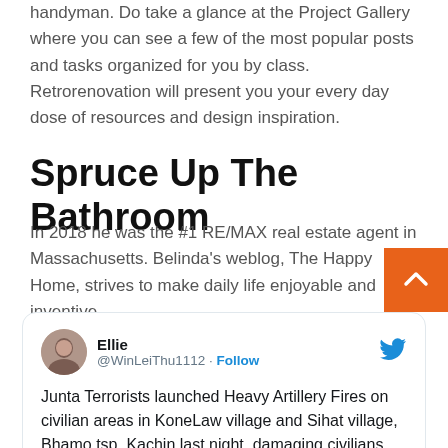handyman. Do take a glance at the Project Gallery where you can see a few of the most popular posts and tasks organized for you by class. Retrorenovation will present you your every day dose of resources and design inspiration.
Spruce Up The Bathroom
In 2018 he was the #1 RE/MAX real estate agent in Massachusetts. Belinda's weblog, The Happy Home, strives to make daily life enjoyable and inventive.
[Figure (screenshot): Tweet card from user Ellie (@WinLeiThu1112) with Follow button and Twitter bird logo. Tweet text: Junta Terrorists launched Heavy Artillery Fires on civilian areas in KoneLaw village and Sihat village, Bhamo tsp, Kachin last night, damaging civilians houses.]